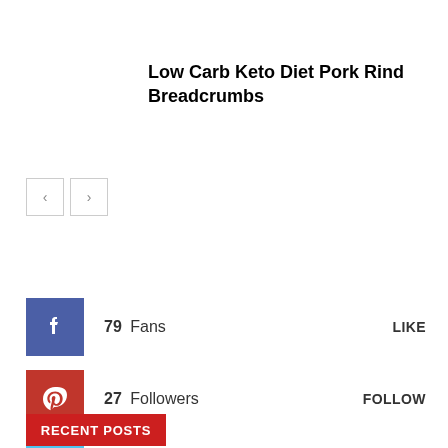Low Carb Keto Diet Pork Rind Breadcrumbs
[Figure (other): Navigation arrow buttons (left and right) for a content carousel or slider]
79  Fans   LIKE
27  Followers   FOLLOW
1  Followers   FOLLOW
RECENT POSTS